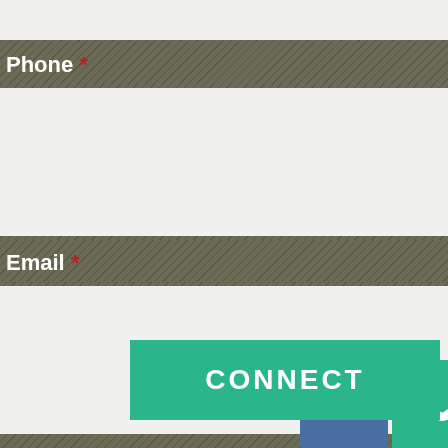[Figure (screenshot): Partial form top input box (cropped at top)]
Phone *
[Figure (screenshot): Phone input text field (empty white box)]
Email *
[Figure (screenshot): Email input text field (empty white box)]
[Figure (infographic): CONNECT button in teal/green color with email icon (blue square) and phone icon (green square) beside it]